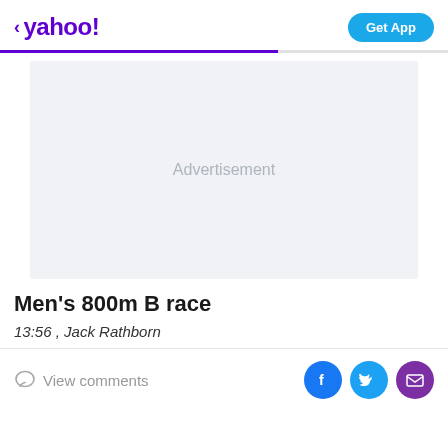< yahoo!  Get App
[Figure (other): Advertisement placeholder box with light gray background and centered 'Advertisement' text]
Men's 800m B race
13:56 , Jack Rathborn
View comments
[Figure (other): Social sharing icons: Facebook (blue circle), Twitter (light blue circle), Email/envelope (purple circle)]